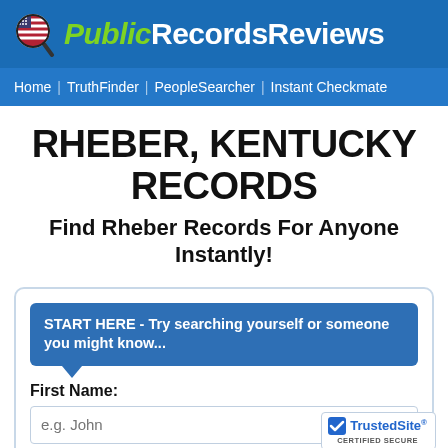[Figure (logo): PublicRecordsReviews logo with US flag magnifying glass icon, 'Public' in green italic and 'RecordsReviews' in white on blue background]
Home | TruthFinder | PeopleSearcher | Instant Checkmate
RHEBER, KENTUCKY RECORDS
Find Rheber Records For Anyone Instantly!
START HERE - Try searching yourself or someone you might know...
First Name:
e.g. John